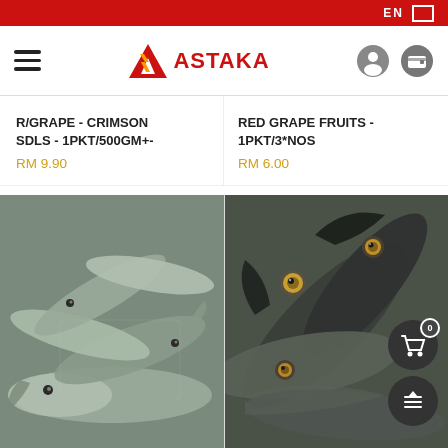EN
[Figure (logo): Astaka logo with red triangle A and red bold ASTAKA text]
R/GRAPE - CRIMSON SDLS - 1PKT/500GM+- RM 9.90
RED GRAPE FRUITS - 1PKT/3*NOS RM 6.00
[Figure (photo): Close-up photo of fresh small fish/mackerel piled together, silver-grey coloring]
[Figure (photo): Close-up photo of fresh mackerel fish with visible eyes, dark blue-grey coloring]